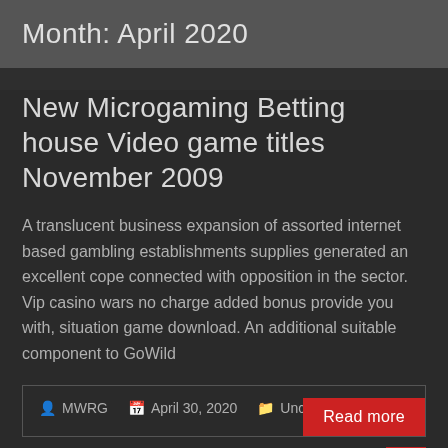Month: April 2020
New Microgaming Betting house Video game titles November 2009
A translucent business expansion of assorted internet based gambling establishments supplies generated an excellent cope connected with opposition in the sector. Vip casino wars no charge added bonus provide you with, situation game download. An additional suitable component to GoWild
MWRG   April 30, 2020   Uncategorized   Read more